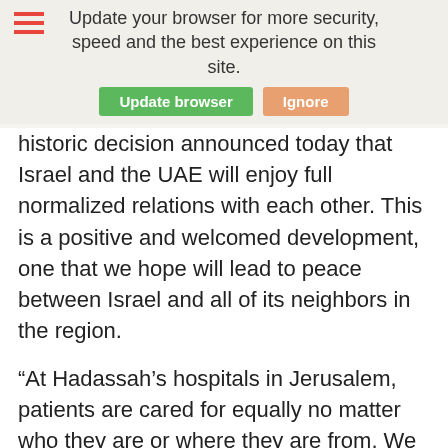Update your browser for more security, speed and the best experience on this site.
historic decision announced today that Israel and the UAE will enjoy full normalized relations with each other. This is a positive and welcomed development, one that we hope will lead to peace between Israel and all of its neighbors in the region.
“At Hadassah’s hospitals in Jerusalem, patients are cared for equally no matter who they are or where they are from. We are proud to serve all people as a place of peaceful coexistence, but we look forward to the day when peaceful coexistence is the norm throughout the Middle East.
“Israel’s right to exist is unquestionable, and its